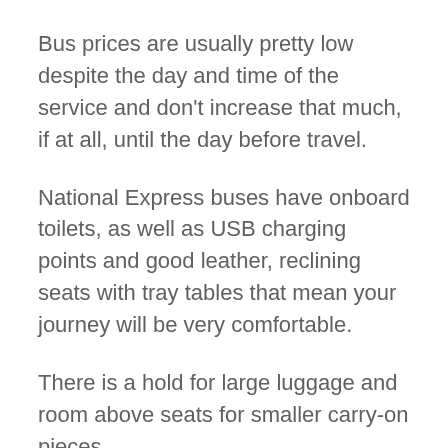Bus prices are usually pretty low despite the day and time of the service and don't increase that much, if at all, until the day before travel.
National Express buses have onboard toilets, as well as USB charging points and good leather, reclining seats with tray tables that mean your journey will be very comfortable.
There is a hold for large luggage and room above seats for smaller carry-on pieces.